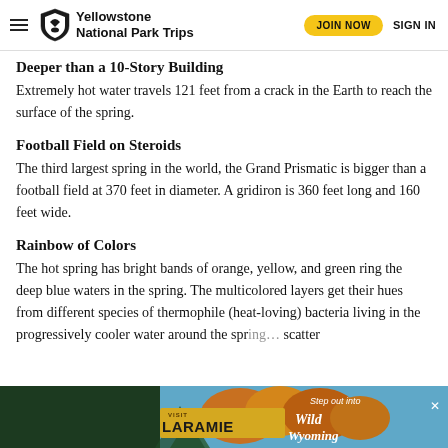Yellowstone National Park Trips | JOIN NOW | SIGN IN
Deeper than a 10-Story Building
Extremely hot water travels 121 feet from a crack in the Earth to reach the surface of the spring.
Football Field on Steroids
The third largest spring in the world, the Grand Prismatic is bigger than a football field at 370 feet in diameter. A gridiron is 360 feet long and 160 feet wide.
Rainbow of Colors
The hot spring has bright bands of orange, yellow, and green ring the deep blue waters in the spring. The multicolored layers get their hues from different species of thermophile (heat-loving) bacteria living in the progressively cooler water around the spring. scatter
[Figure (photo): Advertisement banner for Visit Laramie - Step out into Wild Wyoming]